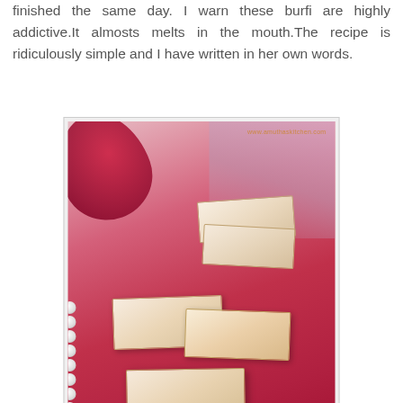finished the same day. I warn these burfi are highly addictive.It almosts melts in the mouth.The recipe is ridiculously simple and I have written in her own words.
[Figure (photo): Photo of square pieces of Badam Cake (almond burfi/fudge) stacked on a red surface with rose petals and pearl strands. Text 'Badam Cake' in gold script at bottom. Watermark 'www.amuthaskitchen.com' in top right corner.]